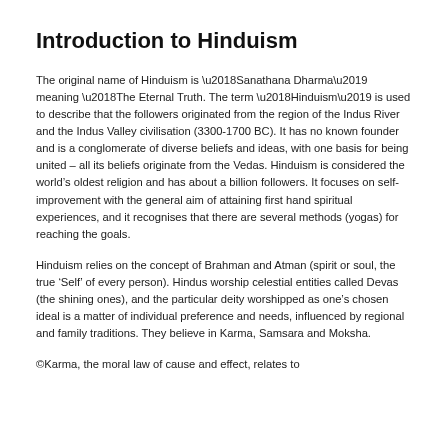Introduction to Hinduism
The original name of Hinduism is ‘Sanathana Dharma’ meaning ‘The Eternal Truth. The term ‘Hinduism’ is used to describe that the followers originated from the region of the Indus River and the Indus Valley civilisation (3300-1700 BC). It has no known founder and is a conglomerate of diverse beliefs and ideas, with one basis for being united – all its beliefs originate from the Vedas. Hinduism is considered the world’s oldest religion and has about a billion followers. It focuses on self-improvement with the general aim of attaining first hand spiritual experiences, and it recognises that there are several methods (yogas) for reaching the goals.
Hinduism relies on the concept of Brahman and Atman (spirit or soul, the true ‘Self’ of every person). Hindus worship celestial entities called Devas (the shining ones), and the particular deity worshipped as one’s chosen ideal is a matter of individual preference and needs, influenced by regional and family traditions. They believe in Karma, Samsara and Moksha.
©Karma, the moral law of cause and effect, relates to